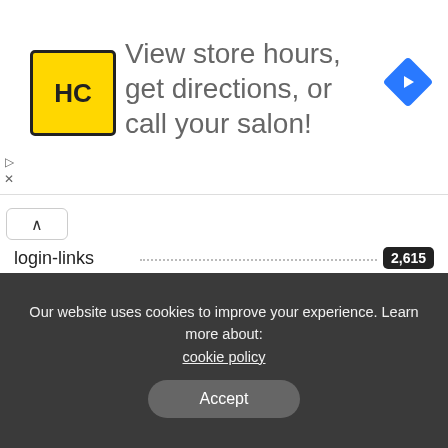[Figure (infographic): Advertisement banner: HC logo (yellow square with black border, bold HC text), large text 'View store hours, get directions, or call your salon!', blue diamond navigation arrow icon on right. Small play and close icons on left side.]
login-links · 2,615
Marketing · 19
News · 15
real · 1
Services · 2
shop · 1
Our website uses cookies to improve your experience. Learn more about: cookie policy
Accept